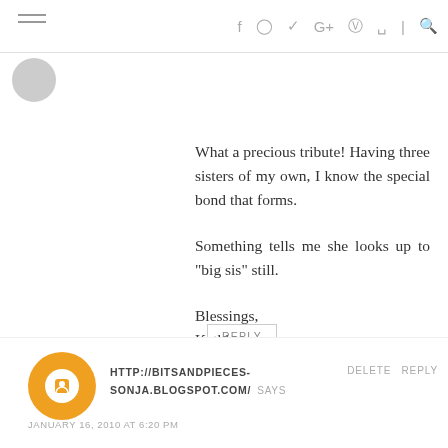Navigation header with hamburger menu and social icons
What a precious tribute! Having three sisters of my own, I know the special bond that forms.

Something tells me she looks up to "big sis" still.

Blessings,
Kathleen
REPLY
HTTP://BITSANDPIECES-SONJA.BLOGSPOT.COM/ SAYS
JANUARY 16, 2010 AT 6:20 PM